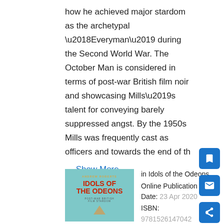how he achieved major stardom as the archetypal ‘Everyman’ during the Second World War. The October Man is considered in terms of post-war British film noir and showcasing Mills’s talent for conveying barely suppressed angst. By the 1950s Mills was frequently cast as officers and towards the end of th
… Show More
Type: Chapter
[Figure (illustration): Book cover for 'Idols of the Odeons: Post-War British Film Stardom' by Andrew Roberts. Teal/aqua background with red bold title text and small decorative element at bottom.]
in Idols of the Odeons
Online Publication Date: 23 Apr 2020
ISBN:
9781526147042